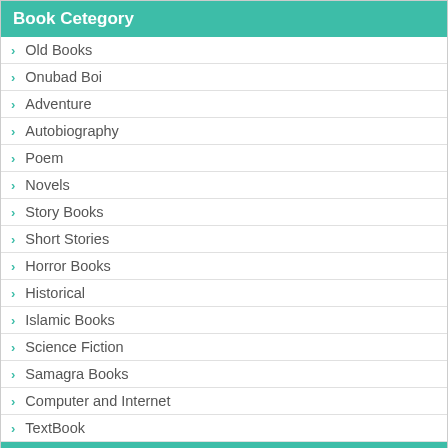Book Cetegory
Old Books
Onubad Boi
Adventure
Autobiography
Poem
Novels
Story Books
Short Stories
Horror Books
Historical
Islamic Books
Science Fiction
Samagra Books
Computer and Internet
TextBook
Bengali Series Books
450+ Masud Rana Books
99+ Tin Goyenda Books
Himu Series
Misir Ali Series
Shuvro Series
Feluda Series